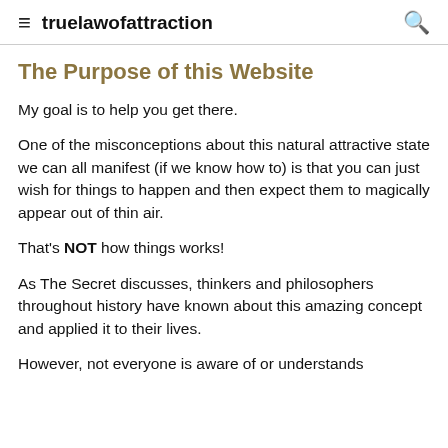≡ truelawofattraction 🔍
The Purpose of this Website
My goal is to help you get there.
One of the misconceptions about this natural attractive state we can all manifest (if we know how to) is that you can just wish for things to happen and then expect them to magically appear out of thin air.
That's NOT how things works!
As The Secret discusses, thinkers and philosophers throughout history have known about this amazing concept and applied it to their lives.
However, not everyone is aware of or understands